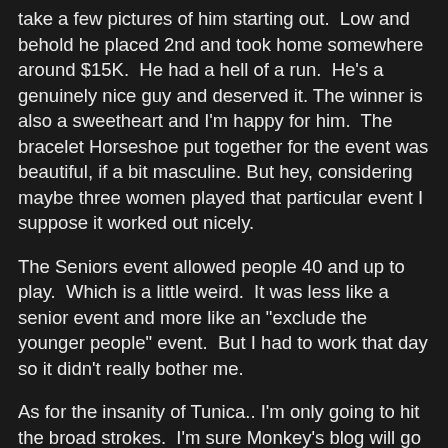take a few pictures of him starting out.  Low and behold he placed 2nd and took home somewhere around $15K.  He had a hell of a run.  He's a genuinely nice guy and deserved it. The winner is also a sweetheart and I'm happy for him.  The bracelet Horseshoe put together for the event was beautiful, if a bit masculine. But hey, considering maybe three women played that particular event I suppose it worked out nicely.
The Seniors event allowed people 40 and up to play.  Which is a little weird.  It was less like a senior event and more like an "exclude the younger people" event.  But I had to work that day so it didn't really bother me.
As for the insanity of Tunica.. I'm only going to hit the broad strokes.  I'm sure Monkey's blog will go into more details.  The short version is this:  I was lurking around the final table in the main, and went to see what Monkey had gotten himself into.  He was playing Blackjack.. so I decided to join him for a few minutes.  He was winning on an insane heater/streak.. I was on a moderate streak myself, and our independent stacks were growing exponentially. You know